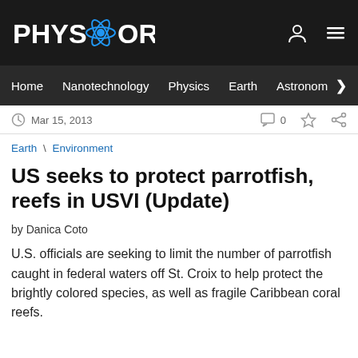PHYS.ORG
Home   Nanotechnology   Physics   Earth   Astronomy >
Mar 15, 2013   0
Earth \ Environment
US seeks to protect parrotfish, reefs in USVI (Update)
by Danica Coto
U.S. officials are seeking to limit the number of parrotfish caught in federal waters off St. Croix to help protect the brightly colored species, as well as fragile Caribbean coral reefs.